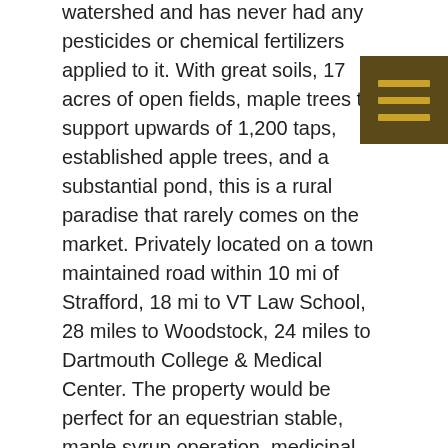watershed and has never had any pesticides or chemical fertilizers applied to it. With great soils, 17 acres of open fields, maple trees to support upwards of 1,200 taps, established apple trees, and a substantial pond, this is a rural paradise that rarely comes on the market. Privately located on a town maintained road within 10 mi of Strafford, 18 mi to VT Law School, 28 miles to Woodstock, 24 miles to Dartmouth College & Medical Center. The property would be perfect for an equestrian stable, maple syrup operation, medicinal herb farm, beef/poultry production, or a building site for a brand new home. The existing camp style home could be the perfect place to live while you build, or if you ever wanted to live off the grid, here is your chance. The camp home has running water via a solar powered pump connected to a natural spring, and it is equipped with a septic system (1990s). Power is available very close by at the nearest utility pole less than 1/2 mile down the road. Also includes several outbuildings and equipment sheds